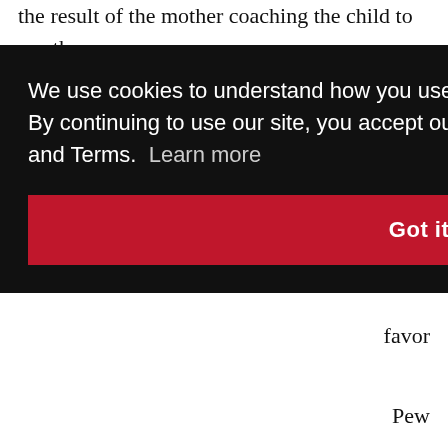the result of the mother coaching the child to say the
We use cookies to understand how you use our site and to improve your experience. By continuing to use our site, you accept our use of cookies, revised Privacy Policy and Terms.  Learn more
Got it!
d have
favor
Pew
ses are
ases,
mothers end up with primary custody. But, according to a Massachusetts study from the 1980s, when fathers contest custody, they win 70 percent of the time.
“If you are an abusive and controlling man, the ultimate threat is always, ‘If you leave me, I will take